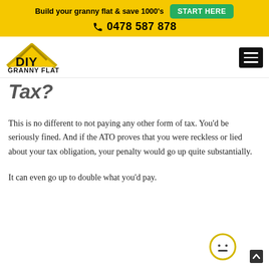Build your granny flat & save 1000's  START HERE  0478 587 878
[Figure (logo): DIY Granny Flat logo with yellow house roof icon and bold text]
Tax?
This is no different to not paying any other form of tax. You'd be seriously fined. And if the ATO proves that you were reckless or lied about your tax obligation, your penalty would go up quite substantially.
It can even go up to double what you'd pay.